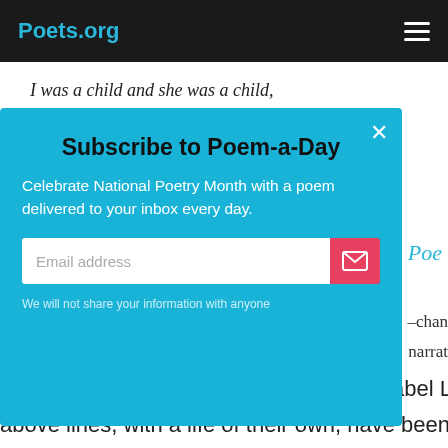Poets.org
I was a child and she was a child,
In this kingdom by the sea;
But we loved with a love that was more than love–
Subscribe to Poem-a-Day
Celebrate National Poetry Month with a poem delivered to your inbox every day.
Email address
We will not share your information with anyone
the angels' gain, of the breathtaking Annabel Le
above lines, with a life of their own, have been s